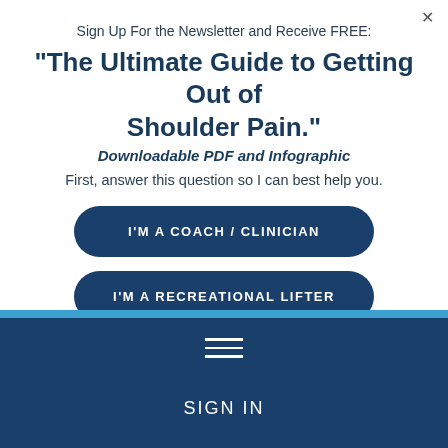Sign Up For the Newsletter and Receive FREE:
"The Ultimate Guide to Getting Out of Shoulder Pain."
Downloadable PDF and Infographic
First, answer this question so I can best help you.
I'M A COACH / CLINICIAN
I'M A RECREATIONAL LIFTER
[Figure (screenshot): Navigation bar with hamburger menu icon and SIGN IN text on dark blue background]
SIGN IN